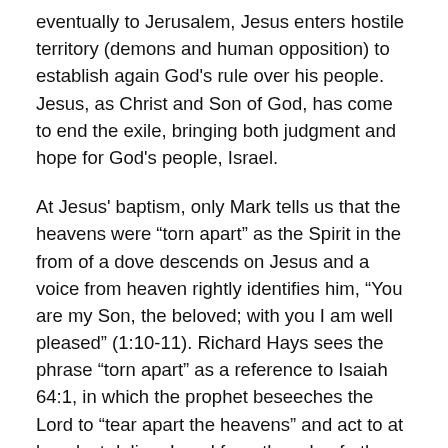eventually to Jerusalem, Jesus enters hostile territory (demons and human opposition) to establish again God's rule over his people. Jesus, as Christ and Son of God, has come to end the exile, bringing both judgment and hope for God's people, Israel.
At Jesus' baptism, only Mark tells us that the heavens were “torn apart” as the Spirit in the from of a dove descends on Jesus and a voice from heaven rightly identifies him, “You are my Son, the beloved; with you I am well pleased” (1:10-11). Richard Hays sees the phrase “torn apart” as a reference to Isaiah 64:1, in which the prophet beseeches the Lord to “tear apart the heavens” and act to at long last deliver Israel from the rule of others. (Echoes of Scripture in the Gospels, 16-17). Jesus is an eschatological figure, the Son of Man, long promised to restore the kingdom to Israel in the final age. The opening